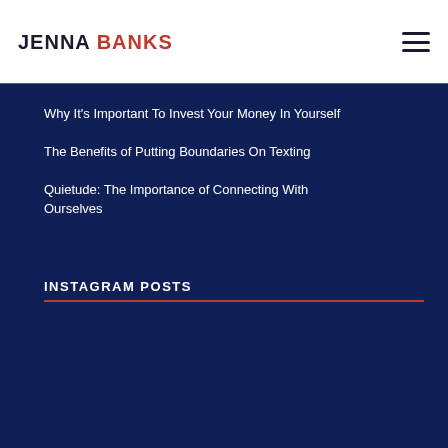JENNA BANKS
Why It's Important To Invest Your Money In Yourself
The Benefits of Putting Boundaries On Texting
Quietude: The Importance of Connecting With Ourselves
INSTAGRAM POSTS